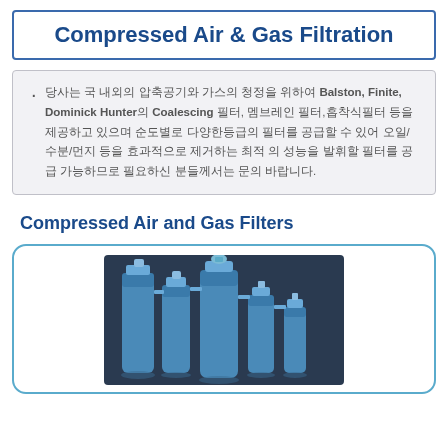Compressed Air & Gas Filtration
당사는 국 내외의 압축공기와 가스의 청정을 위하여 Balston, Finite, Dominick Hunter의 Coalescing 필터, 멤브레인 필터,흡착식필터 등을제공하고 있으며 순도별로 다양한등급의 필터를 공급할 수 있어 오일/수분/먼지 등을 효과적으로 제거하는 최적 의 성능을 발휘할 필터를 공급 가능하므로 필요하신 분들께서는 문의 바랍니다.
Compressed Air and Gas Filters
[Figure (photo): Photo of multiple blue compressed air and gas filter cylinders of varying heights arranged together]